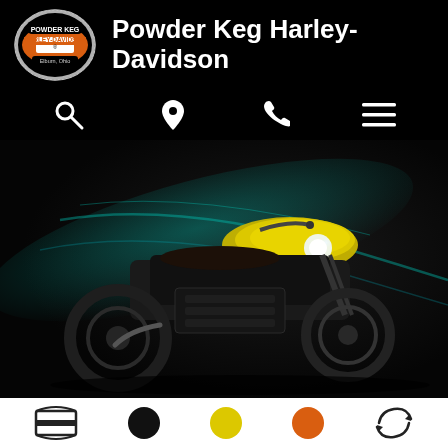[Figure (logo): Powder Keg Harley-Davidson badge logo — orange oval with circular chrome border and bar-and-shield style text]
Powder Keg Harley-Davidson
[Figure (infographic): Navigation bar with four icons: search (magnifying glass), location pin, phone, and hamburger menu, white on black background]
[Figure (photo): Dark studio photo of a yellow Harley-Davidson LiveWire electric motorcycle with teal/cyan light streaks in the background]
[Figure (infographic): Bottom icon bar on white background with five icons: Harley-Davidson bar-and-shield logo, black circle, yellow/gold circle, orange circle, and a 360-spin arrow icon]